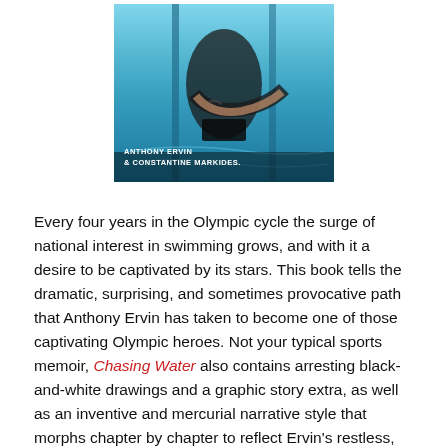[Figure (photo): Book cover photo showing a swimmer underwater in a pool with blue water and lane lines. Text reads 'ANTHONY ERVIN & CONSTANTINE MARKIDES' in white at the bottom of the cover.]
Every four years in the Olympic cycle the surge of national interest in swimming grows, and with it a desire to be captivated by its stars. This book tells the dramatic, surprising, and sometimes provocative path that Anthony Ervin has taken to become one of those captivating Olympic heroes. Not your typical sports memoir, Chasing Water also contains arresting black-and-white drawings and a graphic story extra, as well as an inventive and mercurial narrative style that morphs chapter by chapter to reflect Ervin's restless, multifaceted life.
Ervin won a gold medal at the 2000 Sydney Olympic Games at the age of nineteen. He is an athlete branded with a slew of titles including being the